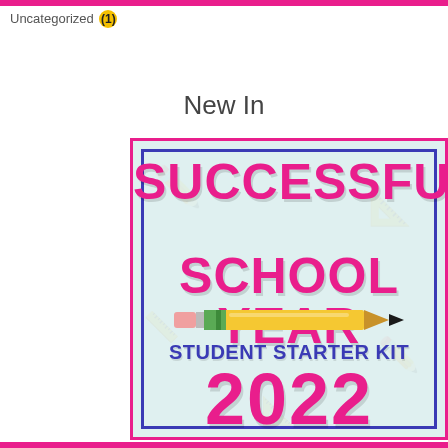Uncategorized (1)
New In
[Figure (illustration): Colorful educational product cover image reading 'Successful School Year Student Starter Kit 2022' with a pencil graphic, pink and navy text on a light teal background with a blue inner border.]